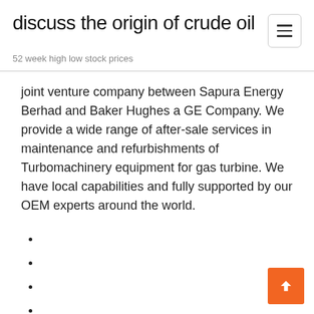discuss the origin of crude oil
52 week high low stock prices
joint venture company between Sapura Energy Berhad and Baker Hughes a GE Company. We provide a wide range of after-sale services in maintenance and refurbishments of Turbomachinery equipment for gas turbine. We have local capabilities and fully supported by our OEM experts around the world.